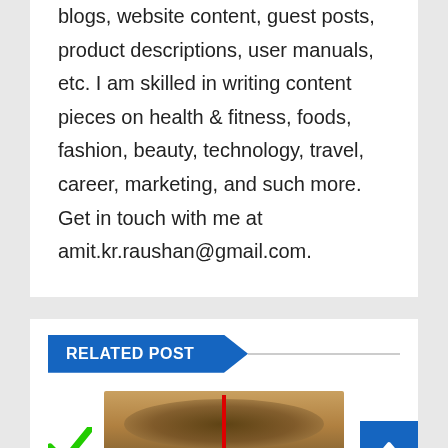blogs, website content, guest posts, product descriptions, user manuals, etc. I am skilled in writing content pieces on health & fitness, foods, fashion, beauty, technology, travel, career, marketing, and such more. Get in touch with me at amit.kr.raushan@gmail.com.
RELATED POST
[Figure (photo): Close-up photo of a woman's eyes with eyebrows, with a red vertical bar in center, green and red diagonal marks on sides, and a blue bar at bottom]